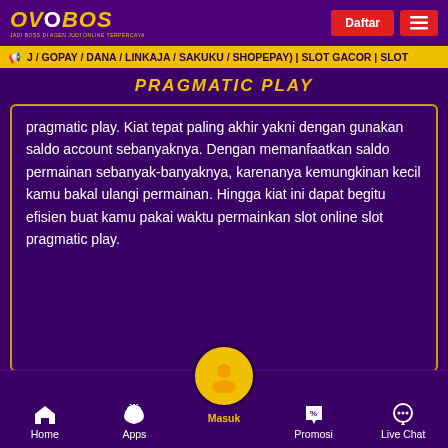OVO BOS - JADI BOSS DI AGEN JUDI ONLINE TERPERCAYA | Daftar
J / GOPAY / DANA / LINKAJA / SAKUKU / SHOPEPAY) | SLOT GACOR | SLOT
PRAGMATIC PLAY
pragmatic play. Kiat tepat paling akhir yakni dengan gunakan saldo account sebanyaknya. Dengan memanfaatkan saldo permainan sebanyak-banyaknya, karenanya kemungkinan kecil kamu bakal ulangi permainan. Hingga kiat ini dapat begitu efisien buat kamu pakai waktu permainkan slot online slot pragmatic play.
Home | Apps | Masuk | Promosi | Live Chat